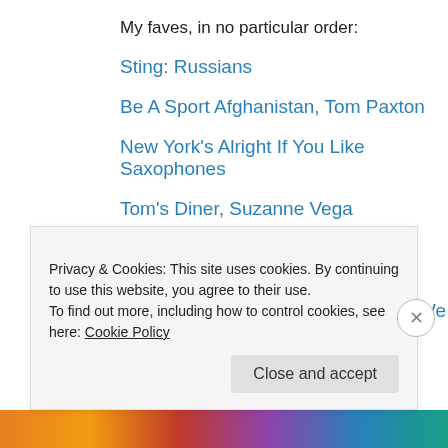My faves, in no particular order:
Sting: Russians
Be A Sport Afghanistan, Tom Paxton
New York's Alright If You Like Saxophones
Tom's Diner, Suzanne Vega
In A Lonely Place, Suzanne Vega & Pat DiNizio
The Smithereens, Strangers When We Meet
Privacy & Cookies: This site uses cookies. By continuing to use this website, you agree to their use.
To find out more, including how to control cookies, see here: Cookie Policy